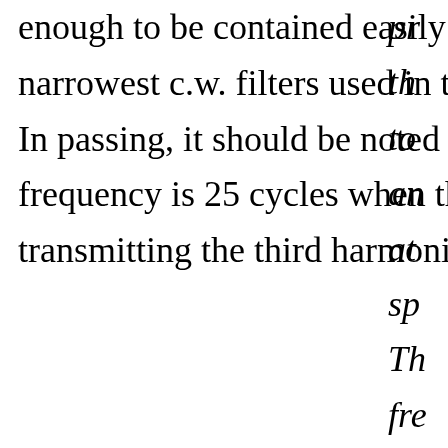enough to be contained easily within the passband of the narrowest c.w. filters used in today's receivers. In passing, it should be noted that the fundamental frequency is 25 cycles when the speed is 50 bands, so transmitting the third harmonic along with the
pr th to an at sp Th fre 23